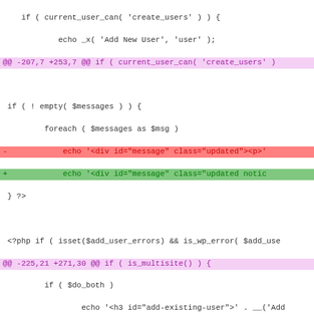[Figure (screenshot): Code diff showing PHP file changes with unified diff format. Includes hunk headers in magenta, removed lines in red, added lines in green, and context lines in dark/black text.]